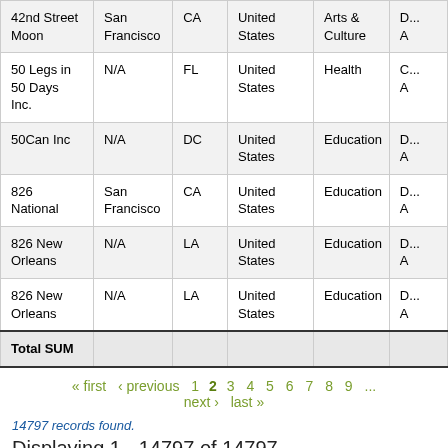| Name | City | State | Country | Category |  |
| --- | --- | --- | --- | --- | --- |
| 42nd Street Moon | San Francisco | CA | United States | Arts & Culture | D... A |
| 50 Legs in 50 Days Inc. | N/A | FL | United States | Health | C... A |
| 50Can Inc | N/A | DC | United States | Education | D... A |
| 826 National | San Francisco | CA | United States | Education | D... A |
| 826 New Orleans | N/A | LA | United States | Education | D... A |
| 826 New Orleans | N/A | LA | United States | Education | D... A |
| Total SUM |  |  |  |  |  |
« first ‹ previous 1 2 3 4 5 6 7 8 9 ... next › last »
14797 records found.
Displaying 1 - 14797 of 14797